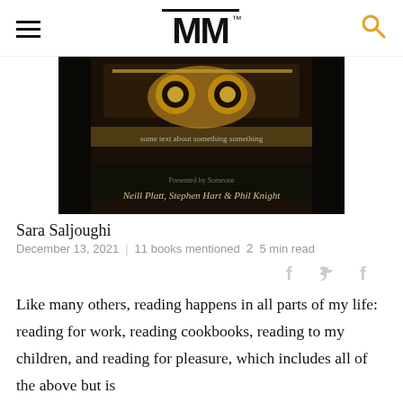MM
[Figure (photo): Book cover with ornate dark gold design, text reading 'Neill Platt, Stephen Hart & Phil Knight']
Sara Saljoughi
December 13, 2021  |  11 books mentioned  2  5 min read
[Figure (other): Social share icons: f (Facebook), bird (Twitter), f (Facebook)]
Like many others, reading happens in all parts of my life: reading for work, reading cookbooks, reading to my children, and reading for pleasure, which includes all of the above but is